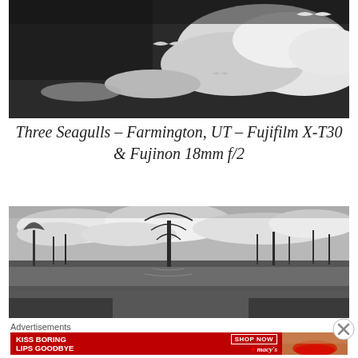[Figure (photo): Black and white photograph of seagulls flying against a dramatic cloudy sky]
Three Seagulls – Farmington, UT – Fujifilm X-T30 & Fujinon 18mm f/2
[Figure (photo): Black and white landscape photograph of bare trees reflected in still water with cloudy sky]
Advertisements
[Figure (infographic): Macy's advertisement: KISS BORING LIPS GOODBYE – SHOP NOW – macy's logo, with lipstick model photo]